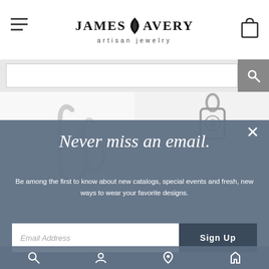James Avery Artisan Jewelry — header with hamburger menu, logo, and bag icon
[Figure (screenshot): Search bar with text input and magnifying glass search button]
[Figure (photo): Two jewelry product images side by side — left shows paper clips/jewelry findings, right shows a charm pendant]
Never miss an email.
Be among the first to know about new catalogs, special events and fresh, new ways to wear your favorite designs.
[Figure (screenshot): Email signup form with Email Address input field and Sign Up button]
Icon strip at bottom with search, account, location, and wishlist icons